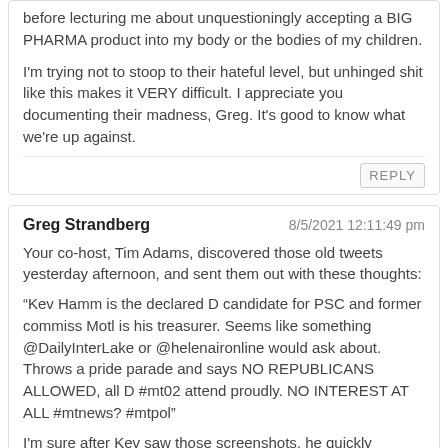before lecturing me about unquestioningly accepting a BIG PHARMA product into my body or the bodies of my children.
I'm trying not to stoop to their hateful level, but unhinged shit like this makes it VERY difficult. I appreciate you documenting their madness, Greg. It's good to know what we're up against.
REPLY
Greg Strandberg
8/5/2021 12:11:49 pm
Your co-host, Tim Adams, discovered those old tweets yesterday afternoon, and sent them out with these thoughts:
“Kev Hamm is the declared D candidate for PSC and former commiss Motl is his treasurer. Seems like something @DailyInterLake or @helenaironline would ask about. Throws a pride parade and says NO REPUBLICANS ALLOWED, all D #mt02 attend proudly. NO INTEREST AT ALL #mtnews? #mtpol”
I'm sure after Kev saw those screenshots, he quickly deleted the old tweets, but as so often happens…the damage is done. But not really. There’s a double-standard, and no